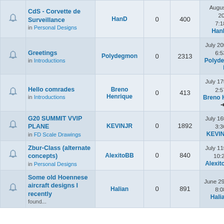|  | Topic | Author | Replies | Views | Last Post |
| --- | --- | --- | --- | --- | --- |
| [bell] | CdS - Corvette de Surveillance
in Personal Designs | HanD | 0 | 400 | August 18th, 2022, 7:18 pm
HanD |
| [bell] | Greetings
in Introductions | Polydegmon | 0 | 2313 | July 20th, 2022, 6:53 pm
Polydegmon |
| [bell] | Hello comrades
in Introductions | Breno Henrique | 0 | 413 | July 17th, 2022, 2:57 am
Breno Henrique |
| [bell] | G20 SUMMIT VVIP PLANE
in FD Scale Drawings | KEVINJR | 0 | 1892 | July 16th, 2022, 3:36 am
KEVINJR |
| [bell] | Zbur-Class (alternate concepts)
in Personal Designs | AlexitoBB | 0 | 840 | July 11th, 2022, 10:20 pm
AlexitoBB |
| [bell] | Some old Hoennese aircraft designs I recently found...
in ... | Halian | 0 | 891 | June 29th, 2022, 8:08 am
Halian |